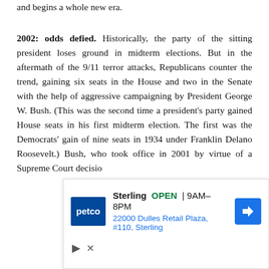and begins a whole new era.
2002: odds defied. Historically, the party of the sitting president loses ground in midterm elections. But in the aftermath of the 9/11 terror attacks, Republicans counter the trend, gaining six seats in the House and two in the Senate with the help of aggressive campaigning by President George W. Bush. (This was the second time a president's party gained House seats in his first midterm election. The first was the Democrats' gain of nine seats in 1934 under Franklin Delano Roosevelt.) Bush, who took office in 2001 by virtue of a Supreme Court decisio
[Figure (infographic): Petco advertisement overlay showing store location: Sterling, OPEN 9AM-8PM, 22000 Dulles Retail Plaza, #110, Sterling, with Petco logo and navigation arrow icon]